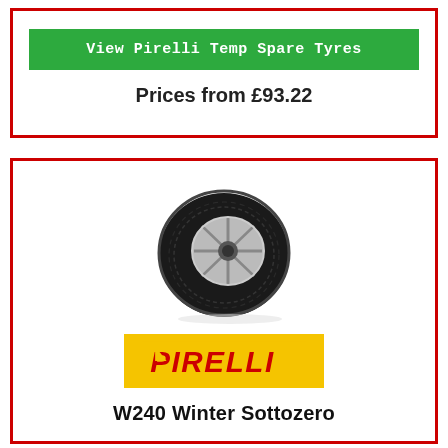View Pirelli Temp Spare Tyres
Prices from £93.22
[Figure (photo): Pirelli W240 Winter Sottozero tyre photographed at an angle showing tread pattern and silver alloy rim]
[Figure (logo): Pirelli logo in red text on yellow background]
W240 Winter Sottozero